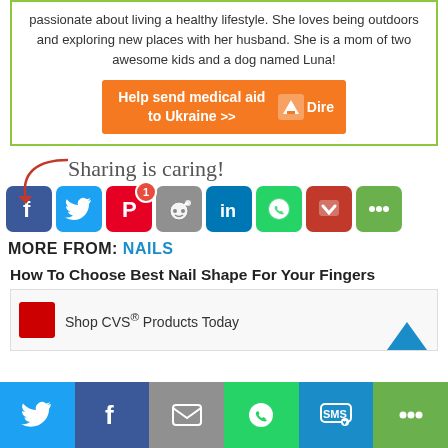passionate about living a healthy lifestyle. She loves being outdoors and exploring new places with her husband. She is a mom of two awesome kids and a dog named Luna!
[Figure (infographic): Orange advertisement banner: Help send medical aid to Ukraine >> with Direct Relief logo]
Sharing is caring!
[Figure (infographic): Row of social share buttons: Facebook, Twitter, Pinterest (with badge 1), Reddit, LinkedIn, WhatsApp, Pocket, More]
MORE FROM: NAILS
How To Choose Best Nail Shape For Your Fingers
[Figure (screenshot): Article thumbnail showing CVS shop ad with red CVS box, text 'Shop CVS® Products Today' and blue arrow]
[Figure (infographic): Bottom share bar with Twitter, Facebook, Email, WhatsApp, SMS, More buttons]